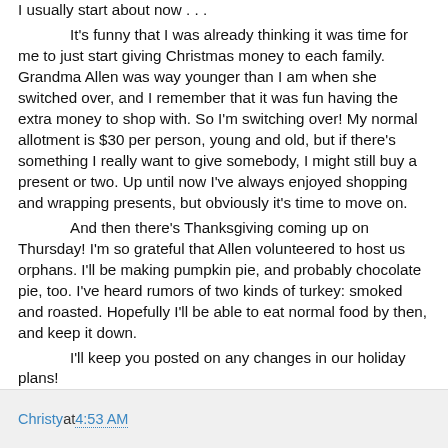I usually start about now . . .    It's funny that I was already thinking it was time for me to just start giving Christmas money to each family. Grandma Allen was way younger than I am when she switched over, and I remember that it was fun having the extra money to shop with. So I'm switching over! My normal allotment is $30 per person, young and old, but if there's something I really want to give somebody, I might still buy a present or two. Up until now I've always enjoyed shopping and wrapping presents, but obviously it's time to move on.    And then there's Thanksgiving coming up on Thursday! I'm so grateful that Allen volunteered to host us orphans. I'll be making pumpkin pie, and probably chocolate pie, too. I've heard rumors of two kinds of turkey: smoked and roasted. Hopefully I'll be able to eat normal food by then, and keep it down.    I'll keep you posted on any changes in our holiday plans!    Lots of love, Mom
Christy at 4:53 AM